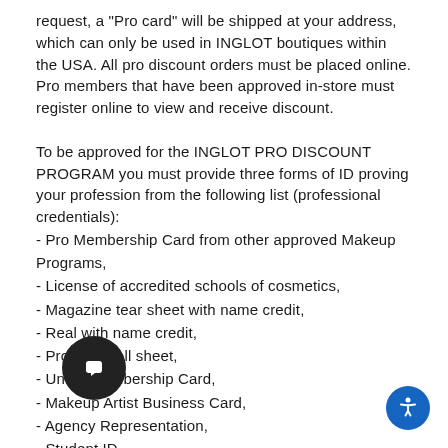request, a "Pro card" will be shipped at your address, which can only be used in INGLOT boutiques within the USA. All pro discount orders must be placed online. Pro members that have been approved in-store must register online to view and receive discount.
To be approved for the INGLOT PRO DISCOUNT PROGRAM you must provide three forms of ID proving your profession from the following list (professional credentials):
- Pro Membership Card from other approved Makeup Programs,
- License of accredited schools of cosmetics,
- Magazine tear sheet with name credit,
- Real with name credit,
- Program/call sheet,
- Union Membership Card,
- Makeup Artist Business Card,
- Agency Representation,
- Student ID,
- Employment Documentation,
- Professional Head shot.